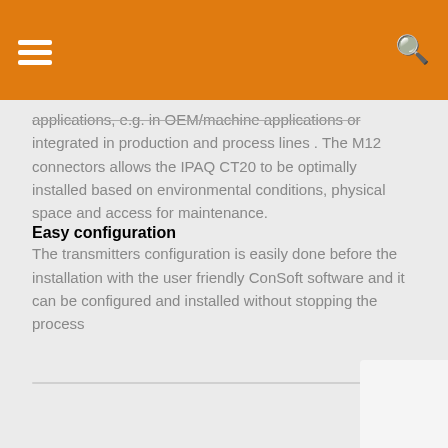applications, e.g. in OEM/machine applications or integrated in production and process lines . The M12 connectors allows the IPAQ CT20 to be optimally installed based on environmental conditions, physical space and access for maintenance.
Easy configuration
The transmitters configuration is easily done before the installation with the user friendly ConSoft software and it can be configured and installed without stopping the process